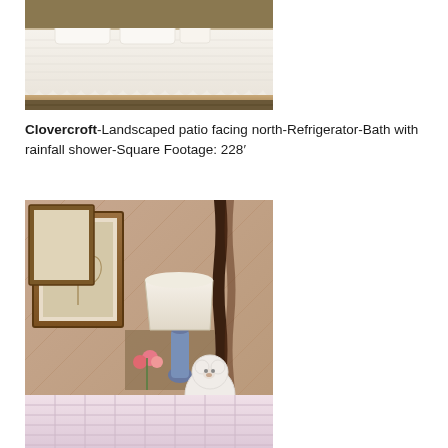[Figure (photo): Photo of a white textured bedspread/coverlet on a bed with floral bedskirt and pillows]
Clovercroft-Landscaped patio facing north-Refrigerator-Bath with rainfall shower-Square Footage: 228′
[Figure (photo): Photo of a bedroom with pink quilted bedspread, twisted dark wood bedpost, white stuffed bear, table lamp, and framed botanical prints on patterned wallpaper]